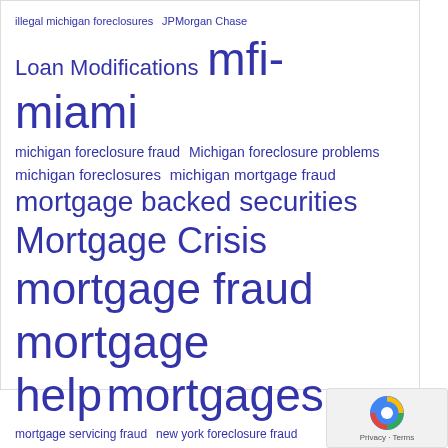[Figure (infographic): Tag/word cloud with mortgage and foreclosure related terms in blue, sized by frequency/importance. Terms include: illegal michigan foreclosures, JPMorgan Chase, Loan Modifications, mfi-miami, michigan foreclosure fraud, Michigan foreclosure problems, michigan foreclosures, michigan mortgage fraud, mortgage backed securities, Mortgage Crisis, mortgage fraud, mortgage help, mortgages, mortgage servicing fraud, new york foreclosure fraud, new york foreclosures, new york fraud, new york mortgage fraud, robo-signing, Steve Dibert, Wall Street, Wells Fargo]
Privacy · Terms